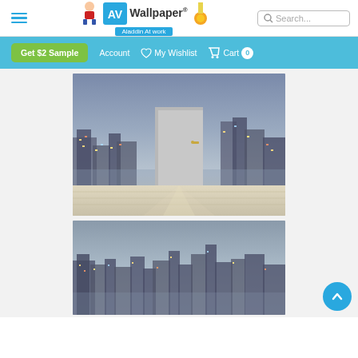AV Wallpaper - navigation bar with hamburger menu, logo, and search
[Figure (screenshot): Website navigation bar with hamburger menu icon on left, AV Wallpaper logo in center, and search box on right]
[Figure (screenshot): Teal navigation strip with Get $2 Sample button, Account, My Wishlist, Cart with badge 0]
[Figure (photo): Product image showing a city skyline at night mural wallpaper with a white door standing in a room with light wood floor]
[Figure (photo): Second product image showing city skyline at night mural wallpaper without door, showing the full panoramic cityscape]